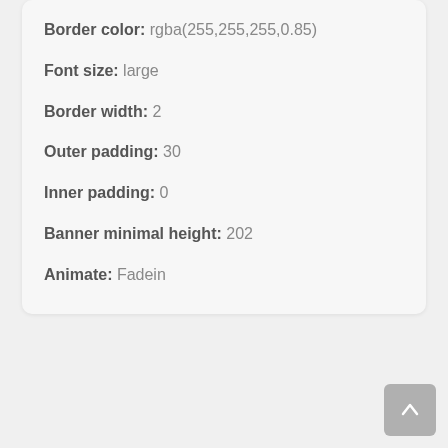Border color: rgba(255,255,255,0.85)
Font size: large
Border width: 2
Outer padding: 30
Inner padding: 0
Banner minimal height: 202
Animate: Fadein